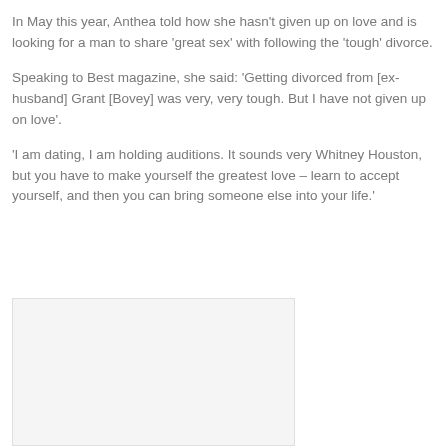In May this year, Anthea told how she hasn't given up on love and is looking for a man to share 'great sex' with following the 'tough' divorce.
Speaking to Best magazine, she said: 'Getting divorced from [ex-husband] Grant [Bovey] was very, very tough. But I have not given up on love'.
'I am dating, I am holding auditions. It sounds very Whitney Houston, but you have to make yourself the greatest love – learn to accept yourself, and then you can bring someone else into your life.'
[Figure (photo): A partially visible image in the lower left area of the page, showing a white/light background with a border.]